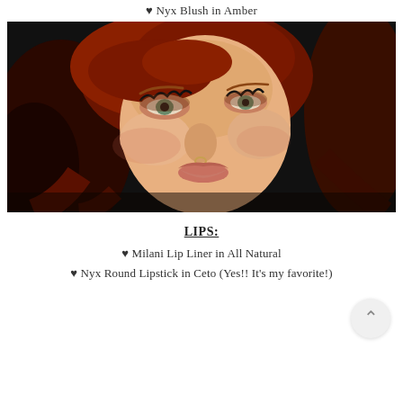♥ Nyx Blush in Amber
[Figure (photo): Close-up portrait of a woman with long red/auburn hair, green eyes, dramatic eye makeup with long lashes, a subtle nose ring, and natural-toned lips. She is smiling slightly against a dark background.]
LIPS:
♥ Milani Lip Liner in All Natural
♥ Nyx Round Lipstick in Ceto (Yes!! It's my favorite!)